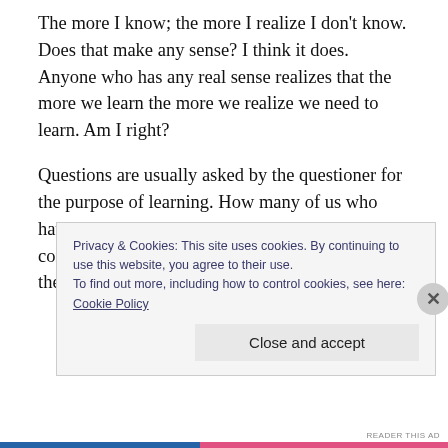The more I know; the more I realize I don't know. Does that make any sense? I think it does. Anyone who has any real sense realizes that the more we learn the more we realize we need to learn. Am I right?
Questions are usually asked by the questioner for the purpose of learning. How many of us who have children and grandchildren haven't had one come up to us with one of those questions, and then, always; upon hearing the
Privacy & Cookies: This site uses cookies. By continuing to use this website, you agree to their use.
To find out more, including how to control cookies, see here:
Cookie Policy
Close and accept